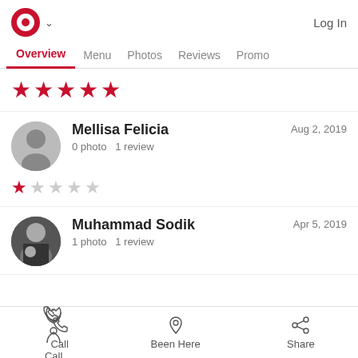Logo | Log In
Overview  Menu  Photos  Reviews  Promo
★★★★★
Mellisa Felicia
0 photo  1 review
Aug 2, 2019
★☆☆☆☆
Muhammad Sodik
1 photo  1 review
Apr 5, 2019